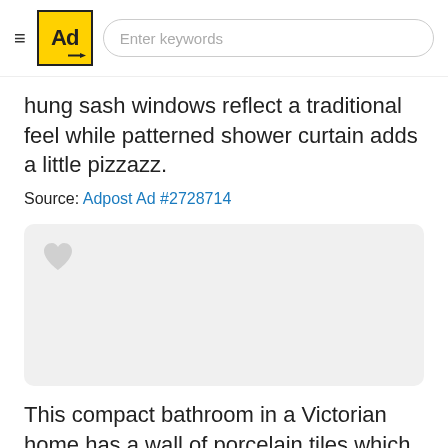≡ Ad [logo] Enter keywords
hung sash windows reflect a traditional feel while patterned shower curtain adds a little pizzazz.
Source: Adpost Ad #2728714
[Figure (photo): Placeholder image with a heart icon in the top-left corner, light gray background]
This compact bathroom in a Victorian home has a wall of porcelain tiles which